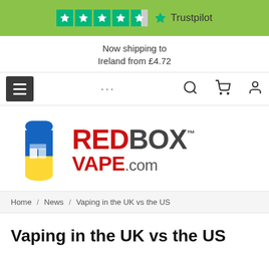[Figure (logo): Trustpilot banner with 4.5 star rating on green background]
Now shipping to Ireland from £4.72
[Figure (logo): RedBox Vape .com logo with blue/yellow vape device icon and red/grey text]
Home / News / Vaping in the UK vs the US
Vaping in the UK vs the US